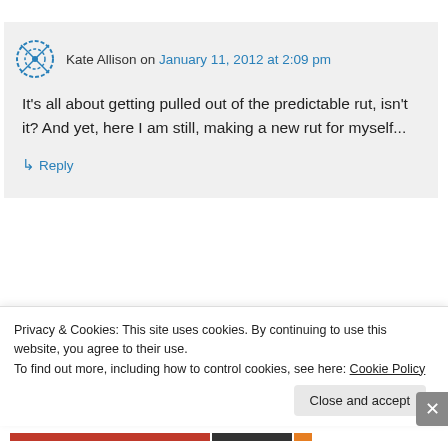Kate Allison on January 11, 2012 at 2:09 pm
It's all about getting pulled out of the predictable rut, isn't it? And yet, here I am still, making a new rut for myself...
↳ Reply
MI_Awanohara on January 11, 2012 at
Privacy & Cookies: This site uses cookies. By continuing to use this website, you agree to their use.
To find out more, including how to control cookies, see here: Cookie Policy